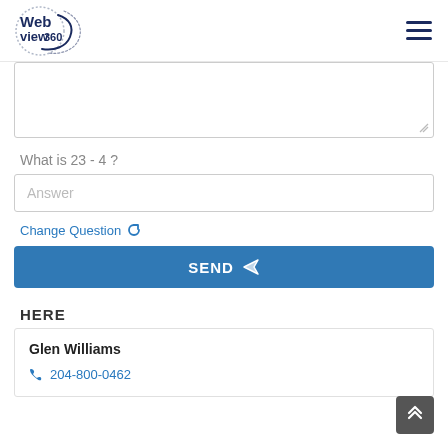WebView360 logo and navigation
[Figure (logo): WebView360 logo with circular design and text 'Web view 360']
What is 23 - 4 ?
Answer
Change Question
SEND
HERE
Glen Williams
204-800-0462